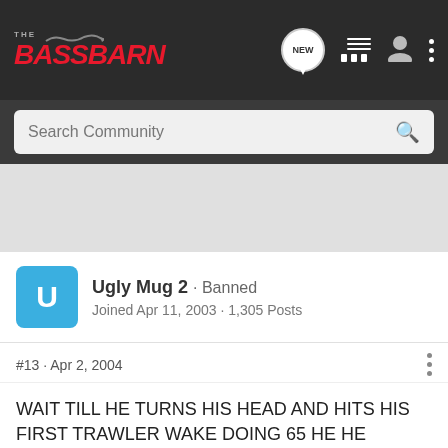THE BASS BARN
Search Community
[Figure (other): Gray advertisement space placeholder]
Ugly Mug 2 · Banned
Joined Apr 11, 2003 · 1,305 Posts
#13 · Apr 2, 2004
WAIT TILL HE TURNS HIS HEAD AND HITS HIS FIRST TRAWLER WAKE DOING 65 HE HE HE.........
[Figure (photo): Advertisement banner: YOUR NEW FAVORITE SPORT - EXPLORE HOW TO RESPONSIBLY PARTICIPATE IN THE SHOOTING SPORTS. START HERE!]